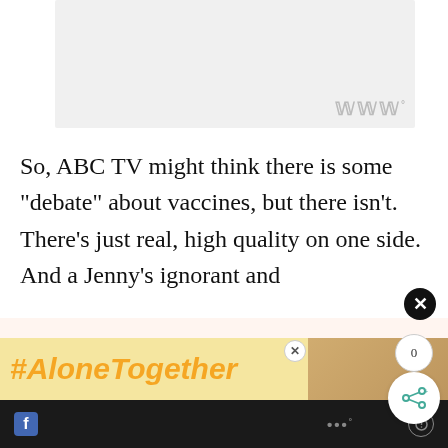[Figure (screenshot): Light gray placeholder image area at top of page]
So, ABC TV might think there is some “debate” about vaccines, but there isn’t. There’s just real, high quality on one side. And a Jenny’s ignorant and
Don’t miss each new article!
Email Address *
[Figure (screenshot): #AloneTogether advertisement banner at bottom with photo of woman]
Bottom toolbar with social/navigation icons